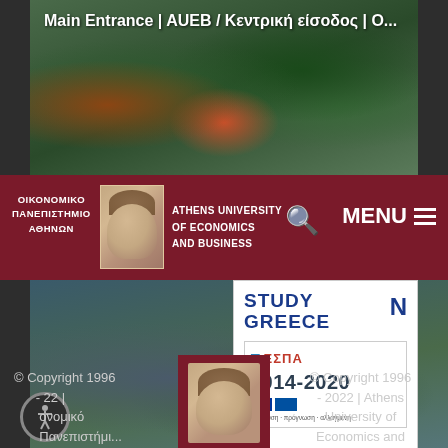[Figure (photo): Aerial view of AUEB campus with green areas and sports field, with title overlay 'Main Entrance | AUEB / Κεντρική είσοδος | Ο...']
[Figure (logo): AUEB logo bar with Greek text 'ΟΙΚΟΝΟΜΙΚΟ ΠΑΝΕΠΙΣΤΗΜΙΟ ΑΘΗΝΩΝ', classical bust, English text 'ATHENS UNIVERSITY OF ECONOMICS AND BUSINESS', search icon, and MENU button]
[Figure (photo): Aerial view of Athens university buildings and surrounding city]
[Figure (logo): Study Greece logo and ΕΣΠΑ 2014-2020 badge]
[Figure (logo): AUEB center logo with classical bust and ΟΠΑ text on dark red background]
© Copyright 1996 - 2022 | Οικονομικό Πανεπιστήμιο
© Copyright 1996 - 2022 | Athens University of Economics and